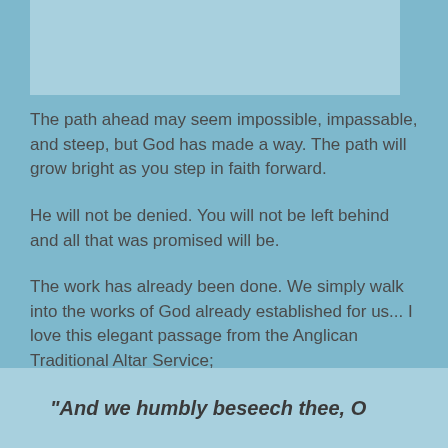[Figure (other): Light blue decorative banner at the top of the page]
The path ahead may seem impossible, impassable, and steep, but God has made a way. The path will grow bright as you step in faith forward.
He will not be denied. You will not be left behind and all that was promised will be.
The work has already been done. We simply walk into the works of God already established for us... I love this elegant passage from the Anglican Traditional Altar Service;
“And we humbly beseech thee, O